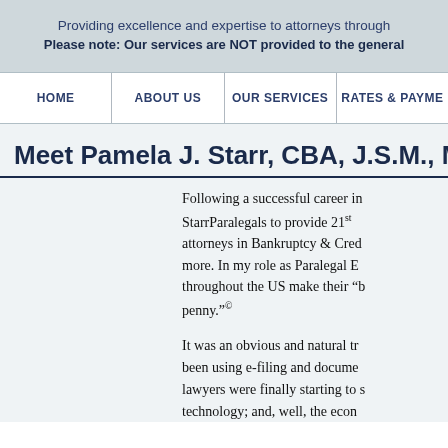Providing excellence and expertise to attorneys through
Please note: Our services are NOT provided to the general
HOME | ABOUT US | OUR SERVICES | RATES & PAYME
Meet Pamela J. Starr, CBA, J.S.M., MA
Following a successful career in StarrParalegals to provide 21st attorneys in Bankruptcy & Cred more. In my role as Paralegal E throughout the US make their "b penny."©
It was an obvious and natural tr been using e-filing and docume lawyers were finally starting to s technology; and, well, the econ